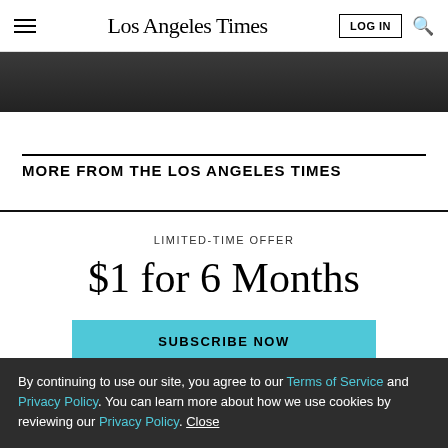Los Angeles Times
[Figure (photo): Partial photo of a person, dark background, cropped at top]
MORE FROM THE LOS ANGELES TIMES
LIMITED-TIME OFFER
$1 for 6 Months
SUBSCRIBE NOW
By continuing to use our site, you agree to our Terms of Service and Privacy Policy. You can learn more about how we use cookies by reviewing our Privacy Policy. Close